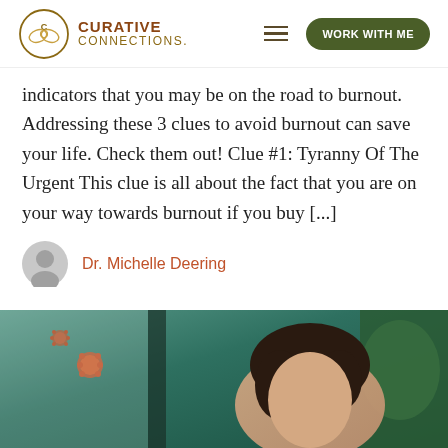CURATIVE CONNECTIONS.
indicators that you may be on the road to burnout. Addressing these 3 clues to avoid burnout can save your life. Check them out! Clue #1: Tyranny Of The Urgent This clue is all about the fact that you are on your way towards burnout if you buy [...]
Dr. Michelle Deering
[Figure (photo): A woman with dark hair viewed through a glass window with virus/germ particles visible in the foreground, blurred teal background with plants.]